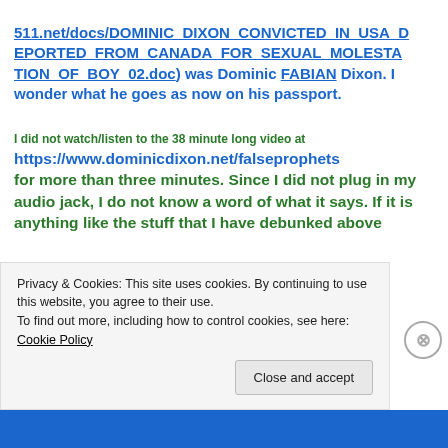511.net/docs/DOMINIC_DIXON_CONVICTED_IN_USA_DEPORTED_FROM_CANADA_FOR_SEXUAL_MOLESTATION_OF_BOY_02.doc) was Dominic FABIAN Dixon. I wonder what he goes as now on his passport.
I did not watch/listen to the 38 minute long video at https://www.dominicdixon.net/falseprophets for more than three minutes. Since I did not plug in my audio jack, I do not know a word of what it says. If it is anything like the stuff that I have debunked above
Privacy & Cookies: This site uses cookies. By continuing to use this website, you agree to their use. To find out more, including how to control cookies, see here: Cookie Policy